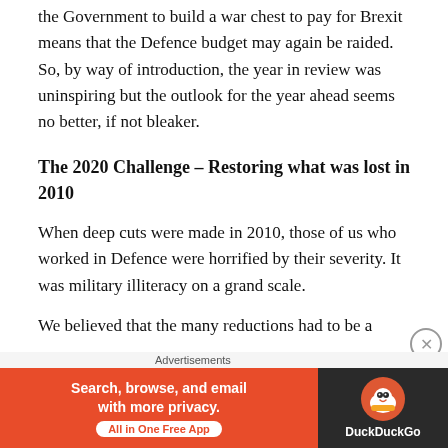the Government to build a war chest to pay for Brexit means that the Defence budget may again be raided. So, by way of introduction, the year in review was uninspiring but the outlook for the year ahead seems no better, if not bleaker.
The 2020 Challenge – Restoring what was lost in 2010
When deep cuts were made in 2010, those of us who worked in Defence were horrified by their severity. It was military illiteracy on a grand scale.
We believed that the many reductions had to be a
Advertisements
[Figure (other): DuckDuckGo advertisement banner: 'Search, browse, and email with more privacy. All in One Free App' with DuckDuckGo logo on dark right panel]